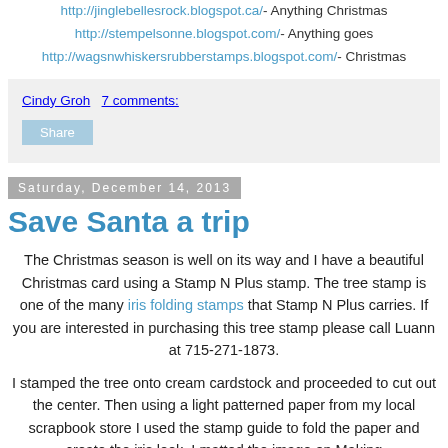http://jinglebellesrock.blogspot.ca/ - Anything Christmas
http://stempelsonne.blogspot.com/ - Anything goes
http://wagsnwhiskersrubberstamps.blogspot.com/ - Christmas
Cindy Groh   7 comments:
Share
Saturday, December 14, 2013
Save Santa a trip
The Christmas season is well on its way and I have a beautiful Christmas card using a Stamp N Plus stamp. The tree stamp is one of the many iris folding stamps that Stamp N Plus carries. If you are interested in purchasing this tree stamp please call Luann at 715-271-1873.
I stamped the tree onto cream cardstock and proceeded to cut out the center. Then using a light patterned paper from my local scrapbook store I used the stamp guide to fold the paper and create the iris look. I matted the image on Making